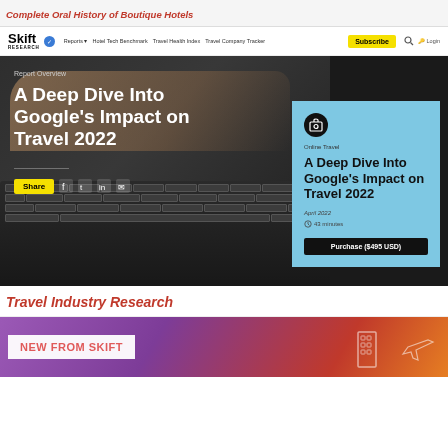Complete Oral History of Boutique Hotels
[Figure (screenshot): Skift Research website navigation bar with logo, menu items (Reports, Hotel Tech Benchmark, Travel Health Index, Travel Company Tracker), Subscribe button, search and login icons]
[Figure (photo): Hero image showing hands typing on a laptop keyboard in dark setting, with overlay text 'Report Overview' and title 'A Deep Dive Into Google's Impact on Travel 2022', Share button and social media icons]
[Figure (infographic): Blue card panel showing camera icon, category 'Online Travel', title 'A Deep Dive Into Google's Impact on Travel 2022', date April 2022, 43 minutes read time, and Purchase ($495 USD) button]
Travel Industry Research
[Figure (screenshot): Bottom purple/orange gradient banner with 'NEW FROM SKIFT' text in white box with red text, and geometric building/travel icons on the right]